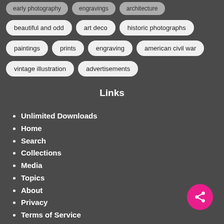beautiful and odd
art deco
historic photographs
paintings
prints
engraving
american civil war
vintage illustration
advertisements
Links
Unlimited Downloads
Home
Search
Collections
Media
Topics
About
Privacy
Terms of Service
Copyright Clearance
Plans
Sitemap